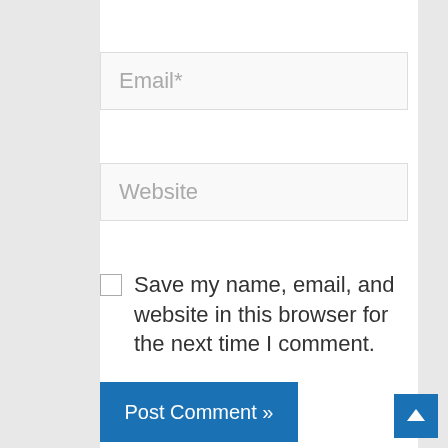Email*
Website
Save my name, email, and website in this browser for the next time I comment.
Post Comment »